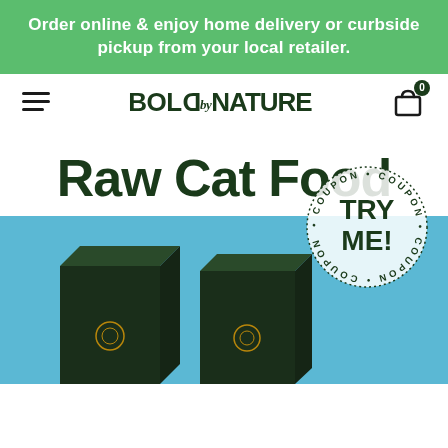Order online & enjoy home delivery or curbside pickup from your local retailer.
[Figure (logo): Bold by Nature logo with hamburger menu and cart icon]
Raw Cat Food
[Figure (other): Coupon badge saying TRY ME! surrounded by circular text reading COUPON]
[Figure (photo): Two dark green Bold by Nature raw cat food product boxes on a blue background]